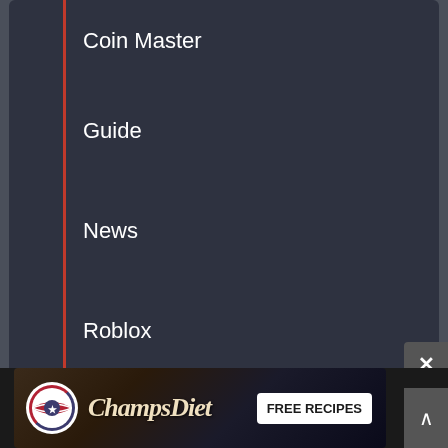Coin Master
Guide
News
Roblox
Tier lists
Follow us
Facebook
Twitter
[Figure (infographic): ChampsDiet advertisement banner with logo circle, script text and FREE RECIPES button]